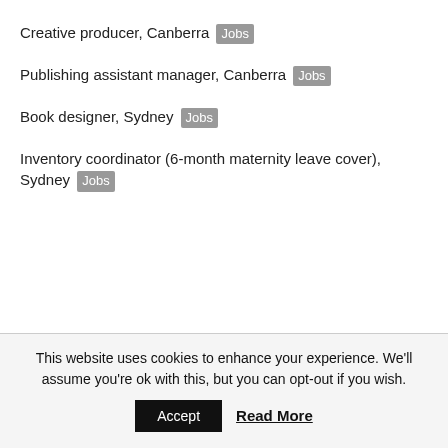Creative producer, Canberra Jobs
Publishing assistant manager, Canberra Jobs
Book designer, Sydney Jobs
Inventory coordinator (6-month maternity leave cover), Sydney Jobs
This website uses cookies to enhance your experience. We'll assume you're ok with this, but you can opt-out if you wish.
Accept
Read More